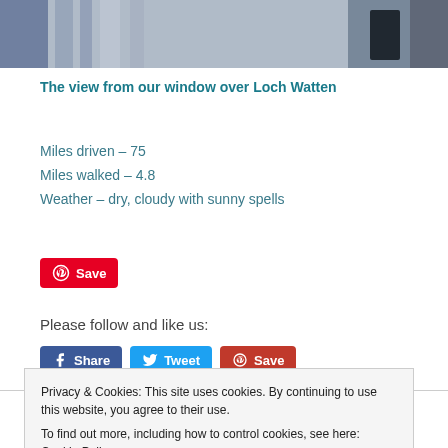[Figure (photo): Partial view of a room/window with curtains and a dark object, overlooks Loch Watten]
The view from our window over Loch Watten
Miles driven – 75
Miles walked – 4.8
Weather – dry, cloudy with sunny spells
[Figure (other): Pinterest Save button (red rounded rectangle with Pinterest icon and Save label)]
Please follow and like us:
[Figure (other): Social share buttons: Facebook Share, Twitter Tweet, Pinterest Save]
« PREVIOUS
Privacy & Cookies: This site uses cookies. By continuing to use this website, you agree to their use.
To find out more, including how to control cookies, see here: Cookie Policy
Close and accept